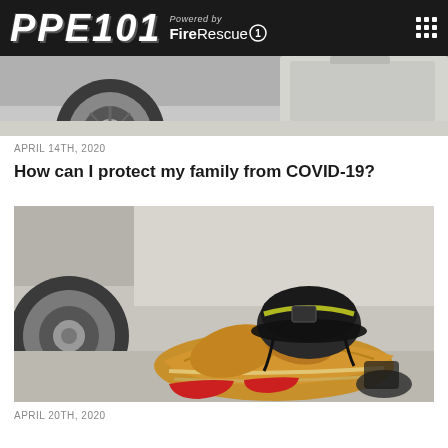PPE101 Powered by FireRescue1
[Figure (photo): Partial photo of a fire truck rear wheel and gray tote container, cropped at top of page]
APRIL 14TH, 2020
How can I protect my family from COVID-19?
[Figure (photo): Firefighter turnout gear (tan jacket and gloves) and black helmet with yellow trim laid on a concrete floor next to a fire truck wheel]
APRIL 20TH, 2020